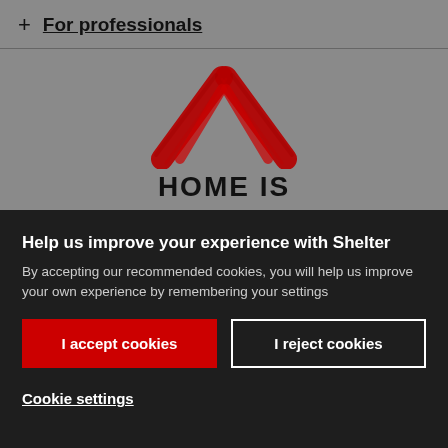+ For professionals
[Figure (logo): Shelter charity logo — red painted chevron/roof shape above text HOME IS]
Help us improve your experience with Shelter
By accepting our recommended cookies, you will help us improve your own experience by remembering your settings
I accept cookies
I reject cookies
Cookie settings